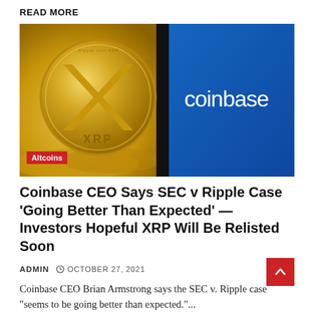READ MORE
[Figure (photo): An XRP gold coin on left half and a Coinbase app logo on blue background on the right half, with an 'Altcoins' red label tag in the lower left of the image.]
Coinbase CEO Says SEC v Ripple Case ‘Going Better Than Expected’ — Investors Hopeful XRP Will Be Relisted Soon
ADMIN   ◌ OCTOBER 27, 2021
Coinbase CEO Brian Armstrong says the SEC v. Ripple case “seems to be going better than expected.”...